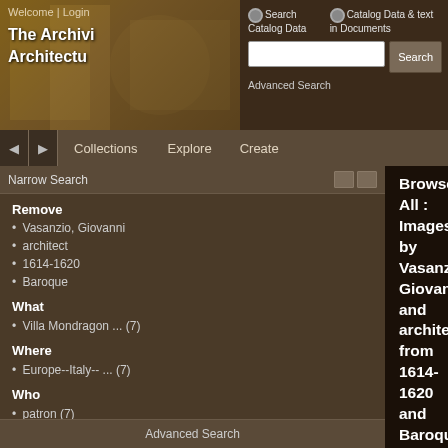Welcome | Login — The Archivi Architectu
Search Catalog Data | Catalog Data & text in Documents | Search | Advanced Search
Collections   Explore   Create
Narrow Search
Remove
• Vasanzio, Giovanni
• architect
• 1614-1620
• Baroque
What
• Villa Mondragon ... (7)
Where
• Europe--Italy-- ... (7)
Who
• patron (7)
• Borghese, Scipi ... (7)
Advanced Search
Browse All : Images by Vasanzio, Giovanni and architect from 1614-1620 and Baroque
1-7 of 7
[Figure (photo): Architectural floor plan of Villa Mondragone complex, an engraving showing a top-down view of a rectangular building with semicircular apse, gardens and pathways]
Villa Mondragone (complex)
Borghese, Scipione
Italian
1614-1620